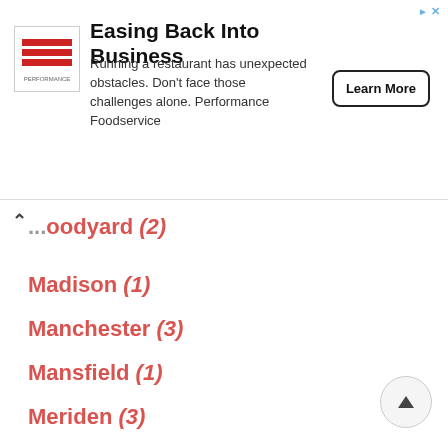[Figure (infographic): Advertisement banner for Performance Foodservice: 'Easing Back Into Business' with logo, body text, and Learn More button]
...oodyard (2)
Madison (1)
Manchester (3)
Mansfield (1)
Meriden (3)
Middlebury (1)
Middlefield (1)
Middletown (5)
Milford (5)